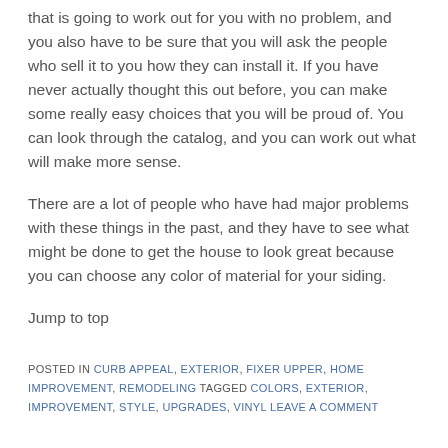that is going to work out for you with no problem, and you also have to be sure that you will ask the people who sell it to you how they can install it. If you have never actually thought this out before, you can make some really easy choices that you will be proud of. You can look through the catalog, and you can work out what will make more sense.
There are a lot of people who have had major problems with these things in the past, and they have to see what might be done to get the house to look great because you can choose any color of material for your siding.
Jump to top
POSTED IN CURB APPEAL, EXTERIOR, FIXER UPPER, HOME IMPROVEMENT, REMODELING TAGGED COLORS, EXTERIOR, IMPROVEMENT, STYLE, UPGRADES, VINYL LEAVE A COMMENT